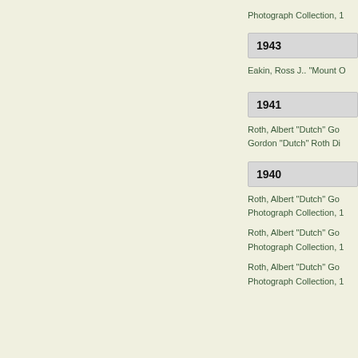Photograph Collection, 1
1943
Eakin, Ross J.. "Mount O
1941
Roth, Albert "Dutch" Go
Gordon "Dutch" Roth Di
1940
Roth, Albert "Dutch" Go
Photograph Collection, 1
Roth, Albert "Dutch" Go
Photograph Collection, 1
Roth, Albert "Dutch" Go
Photograph Collection, 1